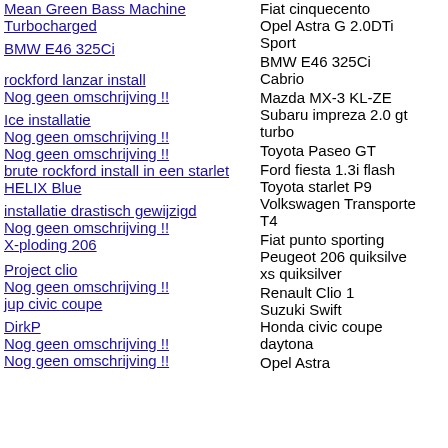| Title/Link | Car |
| --- | --- |
| Mean Green Bass Machine | Fiat cinquecento |
| Turbocharged | Opel Astra G 2.0DTi Sport |
| BMW E46 325Ci | BMW E46 325Ci Cabrio |
| rockford lanzar install | Mazda MX-3 KL-ZE |
| Nog geen omschrijving !! | Subaru impreza 2.0 gt turbo |
| Ice installatie | Toyota Paseo GT |
| Nog geen omschrijving !! |  |
| Nog geen omschrijving !! | Ford fiesta 1.3i flash |
| brute rockford install in een starlet | Toyota starlet P9 |
| HELIX Blue | Volkswagen Transporter T4 |
| installatie drastisch gewijzigd | Fiat punto sporting |
| Nog geen omschrijving !! |  |
| X-ploding 206 | Peugeot 206 quiksilver xs quiksilver |
| Project clio | Renault Clio 1 |
| Nog geen omschrijving !! | Suzuki Swift |
| jup civic coupe | Honda civic coupe daytona |
| DirkP | Opel Astra |
| Nog geen omschrijving !! |  |
| Nog geen omschrijving !! |  |